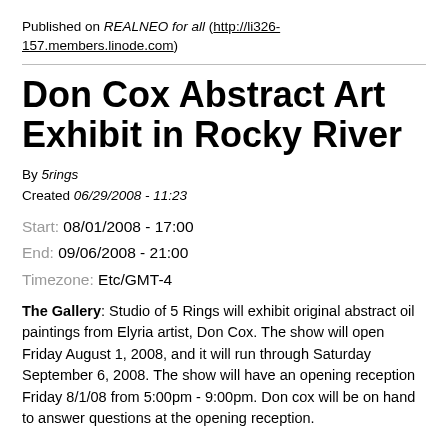Published on REALNEO for all (http://li326-157.members.linode.com)
Don Cox Abstract Art Exhibit in Rocky River
By 5rings
Created 06/29/2008 - 11:23
Start: 08/01/2008 - 17:00
End: 09/06/2008 - 21:00
Timezone: Etc/GMT-4
The Gallery: Studio of 5 Rings will exhibit original abstract oil paintings from Elyria artist, Don Cox.  The show will open Friday August 1, 2008, and it will run through Saturday September 6, 2008.  The show will have an opening reception Friday 8/1/08 from 5:00pm - 9:00pm.  Don cox will be on hand to answer questions at the opening reception.